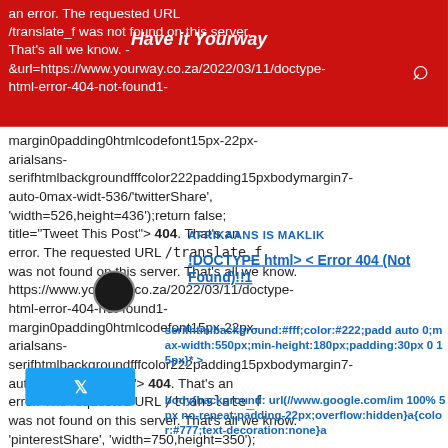Have it Yourway
an error. The requested URL /translate_f was not found on this server. That's all we know. - &url=https://www.yourway.co.za/2022/03/11/doctype-html-error-404-not-found1-margin0padding0htmlcodefont15px-22px-arialsans-serifhtmlbackgroundfffcolor222padding15pxbodymargin7-auto-0max-widt-536/
AFRIKAANS IS MAKLIK
!DOCTYPE html> < Error 404 (Not Found)!!1
serifhtmlbackgroundfffcolor222padding15pxbodymargin7-auto-0max-width-536/'twitterShare', 'width=526,height=436');return false;'0}html,code{font:15px/22px arial,sans-serif}html{background:#fff;color:#222;padd auto 0;max-width:550px;min-height:180px;padding:30px 0 15px}* > body{background: url(//www.google.com/im 100% 5px no-repeat;padding-22px;overflow:hidden}a{color:#777;text-decoration:none}a img{border:0}@media screen and (max-width:772px) {body{margin:0;margin-right:0;padding-right:0}#logo{background:url(//www.googl no-repeat;margin-left:-5px}@media only screen and (min-resolution:192dpi)
'pinterestShare', 'width=750,height=350'); return false; 'title="Pin This Post"> 404. That's an error. The requested URL /translate_f was not found on this server. That's all we know. &BODY I found this article interesting and thought of sharing it with you. Check it out: